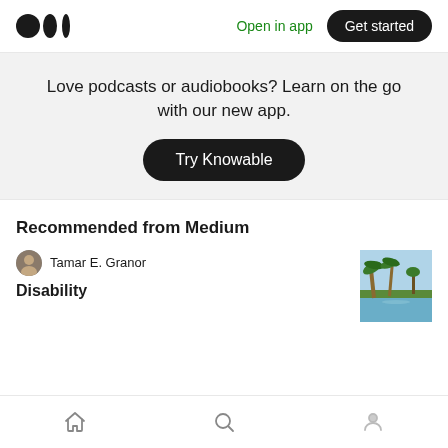Medium logo | Open in app | Get started
Love podcasts or audiobooks? Learn on the go with our new app.
Try Knowable
Recommended from Medium
Tamar E. Granor
Disability
Home | Search | Profile